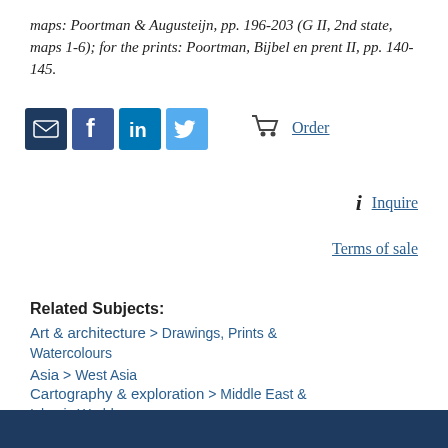maps: Poortman & Augusteijn, pp. 196-203 (G II, 2nd state, maps 1-6); for the prints: Poortman, Bijbel en prent II, pp. 140-145.
[Figure (infographic): Social share icons (email, Facebook, LinkedIn, Twitter) and Order button with cart icon]
[Figure (infographic): Inquire button with italic i icon]
Terms of sale
Related Subjects:
Art & architecture > Drawings, Prints & Watercolours
Asia > West Asia
Cartography & exploration > Middle East & Islamic World
Religion & devotion > Bibles, Liturgy & Devotional Works